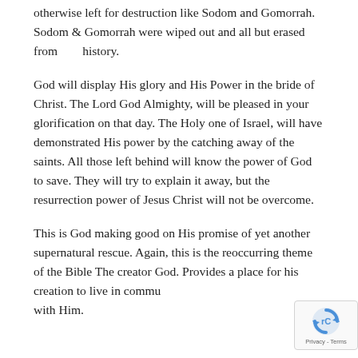otherwise left for destruction like Sodom and Gomorrah. Sodom & Gomorrah were wiped out and all but erased from       history.
God will display His glory and His Power in the bride of Christ. The Lord God Almighty, will be pleased in your glorification on that day. The Holy one of Israel, will have demonstrated His power by the catching away of the saints. All those left behind will know the power of God to save. They will try to explain it away, but the resurrection power of Jesus Christ will not be overcome.
This is God making good on His promise of yet another supernatural rescue. Again, this is the reoccurring theme of the Bible The creator God. Provides a place for his creation to live in community with Him.
[Figure (other): reCAPTCHA badge with rotating arrow icon and Privacy - Terms text]